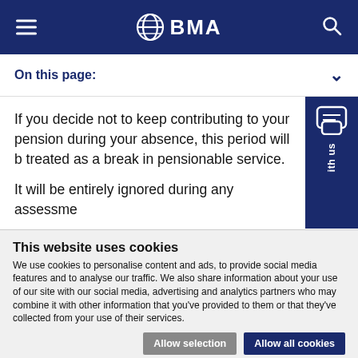BMA
On this page:
If you decide not to keep contributing to your pension during your absence, this period will be treated as a break in pensionable service.
It will be entirely ignored during any assessment
This website uses cookies
We use cookies to personalise content and ads, to provide social media features and to analyse our traffic. We also share information about your use of our site with our social media, advertising and analytics partners who may combine it with other information that you've provided to them or that they've collected from your use of their services.
Allow selection   Allow all cookies
Necessary   Preferences   Statistics   Marketing   Show details
Feedback